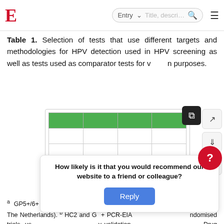E  Entry  [search]
Table 1. Selection of tests that use different targets and methodologies for HPV detection used in HPV screening as well as tests used as comparator tests for validation purposes.
[Figure (table-as-image): Thumbnail preview of Table 1 with green header row and 4 columns, 4 data rows]
a GP5+/6+ enzyme immunoassay (EIA), DDL Diagnostic Laboratory (Rijswijk, The Netherlands). b HC2 and GP5+ PCR-EIA. ndomised trials, us validation Drug Administr onformité